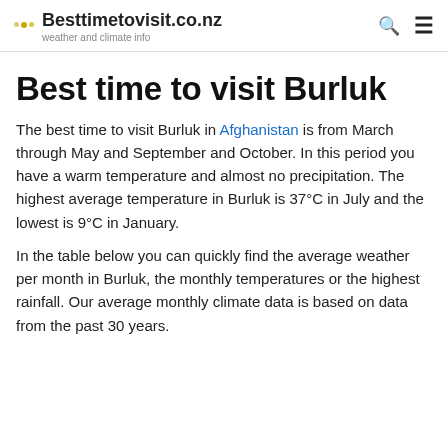Besttimetovisit.co.nz — weather and climate info
Best time to visit Burluk
The best time to visit Burluk in Afghanistan is from March through May and September and October. In this period you have a warm temperature and almost no precipitation. The highest average temperature in Burluk is 37°C in July and the lowest is 9°C in January.
In the table below you can quickly find the average weather per month in Burluk, the monthly temperatures or the highest rainfall. Our average monthly climate data is based on data from the past 30 years.